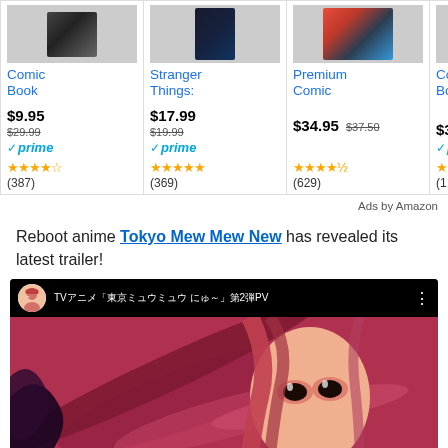[Figure (screenshot): Amazon product ad row showing 4 comic book products: Comic Book ($9.95, was $29.99, Prime, 4 stars, 387 reviews), Stranger Things: ($17.99, was $19.99, Prime, 5 stars, 369 reviews), Premium Comic ($34.95, was $37.50, 4.5 stars, 629 reviews), Comic Books Gift ($31.99, Prime, 4.5 stars, 1405 reviews)]
Ads by Amazon
Reboot anime Tokyo Mew Mew New has revealed its latest trailer!
[Figure (screenshot): YouTube video embed showing Tokyo Mew Mew New TV anime trailer (TV アニメ「東京ミュウミュウ にゅ～」PV第2弾PV) with anime girl character with pink/red hair visible in thumbnail]